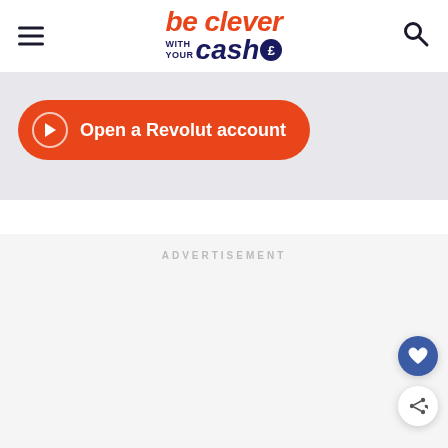[Figure (logo): Be Clever With Your Cash logo — orange italic 'be clever' on top, navy 'with your cash' with a navy circle pound sign below]
[Figure (other): Orange rounded rectangle CTA button with play icon and text 'Open a Revolut account' on a light grey banner background]
ADVERTISEMENT
[Figure (other): Heart icon floating action button (blue circle) and share icon floating action button (white circle) on the right side]